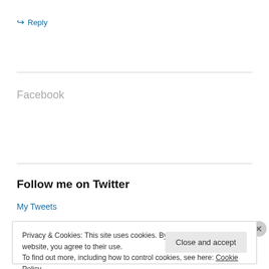↳ Reply
Facebook
Follow me on Twitter
My Tweets
Privacy & Cookies: This site uses cookies. By continuing to use this website, you agree to their use.
To find out more, including how to control cookies, see here: Cookie Policy
Close and accept